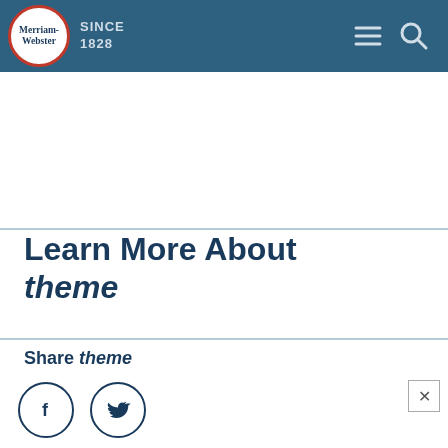Merriam-Webster SINCE 1828
Learn More About theme
Share theme
[Figure (illustration): Facebook and Twitter social share icon circles]